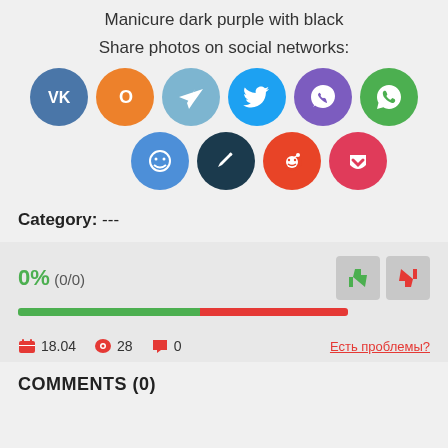Manicure dark purple with black
Share photos on social networks:
[Figure (infographic): Two rows of social network sharing icons: VK (blue), Odnoklassniki (orange), Telegram (light blue), Twitter (blue), Viber (purple), WhatsApp (green), Smileback (blue), Edit/Livejournal (dark teal), Reddit (orange-red), Pocket (red)]
Category:   ---
[Figure (infographic): Rating bar showing 0% (0/0) with green and red progress bar, thumbs up and thumbs down buttons]
18.04   28   0   Есть проблемы?
COMMENTS (0)